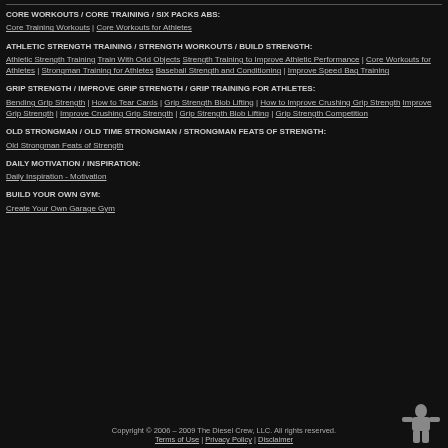CORE WORKOUTS / CORE TRAINING / SIX PACKS ABS:
Core Training Workouts | Core Workouts for Athletes
ATHLETIC STRENGTH TRAINING / STRENGTH WORKOUTS / BUILD STRENGTH:
Athletic Strength Training Train With Odd Objects Strength Training to Improve Athletic Performance | Core Workouts for Athletes | Strongman Training for Athletes Baseball Strength and Conditioning | Improve Speed Bag Training
GRIP STRENGTH / IMPROVE GRIP STRENGTH / GRIP TRAINING FOR ATHLETES:
Bending Grip Strength | How to Tear Cards | Grip Strength Blob Lifting | How to Improve Crushing Grip Strength Improve Grip Strength | Improve Crushing Grip Strength | Grip Strength Blob Lifting | Grip Strength Competition
OLD STRONGMAN / OLD TIME STRONGMAN / STRONGMAN FEATS OF STRENGTH:
Old Strongman Feats of Strength
DAILY MOTIVATION / INSPIRATION:
Daily Inspiration - Motivation
BUILD YOUR OWN GYM:
Create Your Own Garage Gym
Copyright © 2006 – 2009 The Diesel Crew, LLC. All rights reserved.
Terms of Use | Privacy Policy | Disclaimer